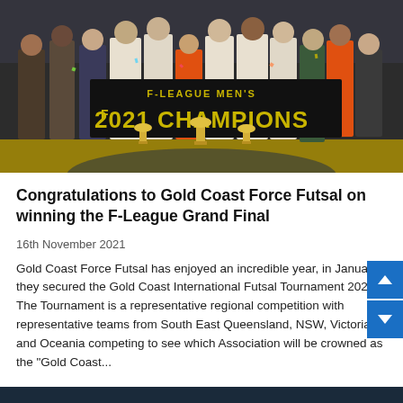[Figure (photo): Team photo of Gold Coast Force Futsal players posing behind a banner reading 'F-LEAGUE MEN'S 2021 CHAMPIONS' with trophies on the floor in front of them]
Congratulations to Gold Coast Force Futsal on winning the F-League Grand Final
16th November 2021
Gold Coast Force Futsal has enjoyed an incredible year, in January, they secured the Gold Coast International Futsal Tournament 2021. The Tournament is a representative regional competition with representative teams from South East Queensland, NSW, Victoria and Oceania competing to see which Association will be crowned as the "Gold Coast...